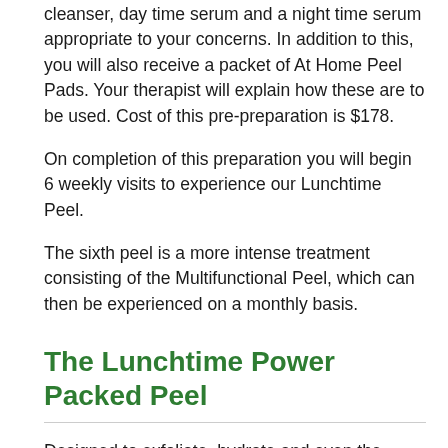cleanser, day time serum and a night time serum appropriate to your concerns. In addition to this, you will also receive a packet of At Home Peel Pads. Your therapist will explain how these are to be used. Cost of this pre-preparation is $178.
On completion of this preparation you will begin 6 weekly visits to experience our Lunchtime Peel.
The sixth peel is a more intense treatment consisting of the Multifunctional Peel, which can then be experienced on a monthly basis.
The Lunchtime Power Packed Peel
Designed to exfoliate, hydrate and even the appearance of the skin, this quick lunchtime peel is power-packed with skin-enhancing benefits. It will